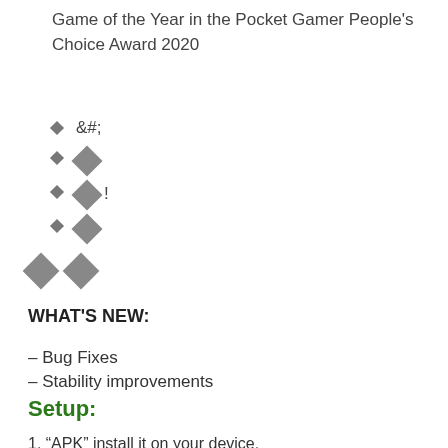Game of the Year in the Pocket Gamer People's Choice Award 2020
&#;
�
�!
�
��
WHAT'S NEW:
– Bug Fixes
– Stability improvements
Setup:
1. “APK” install it on your device.
2. Enter the game.